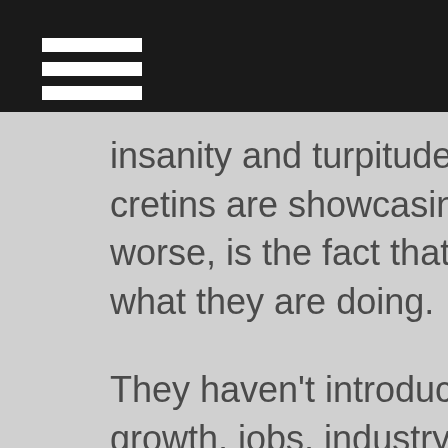[hamburger menu icon]
insanity and turpitude that these pernicious cretins are showcasing as governmental. Even worse, is the fact that they are actually proud of what they are doing.
They haven't introduced plans for economic growth, jobs, industry, national security, infrastructure, etc. They have been all about introducing the rawest forms of anarchism heretofore seen, with the exclusive reason being to destroy President Trump and punish you and I for electing him. What they fail